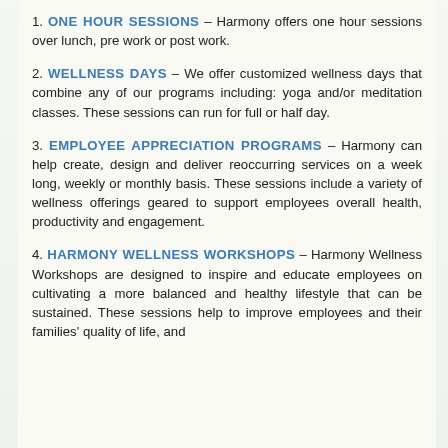1. ONE HOUR SESSIONS – Harmony offers one hour sessions over lunch, pre work or post work.
2. WELLNESS DAYS – We offer customized wellness days that combine any of our programs including: yoga and/or meditation classes. These sessions can run for full or half day.
3. EMPLOYEE APPRECIATION PROGRAMS – Harmony can help create, design and deliver reoccurring services on a week long, weekly or monthly basis. These sessions include a variety of wellness offerings geared to support employees overall health, productivity and engagement.
4. HARMONY WELLNESS WORKSHOPS – Harmony Wellness Workshops are designed to inspire and educate employees on cultivating a more balanced and healthy lifestyle that can be sustained. These sessions help to improve employees and their families' quality of life, and